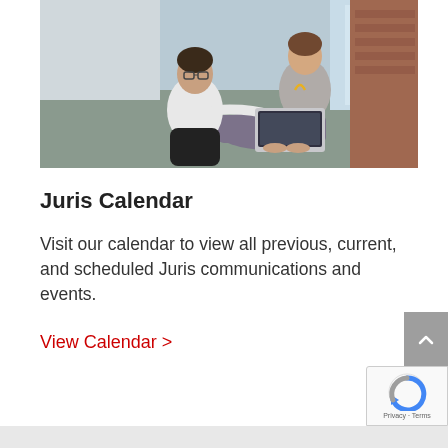[Figure (photo): Two people collaborating on a laptop in a modern office hallway setting]
Juris Calendar
Visit our calendar to view all previous, current, and scheduled Juris communications and events.
View Calendar >
Privacy · Terms